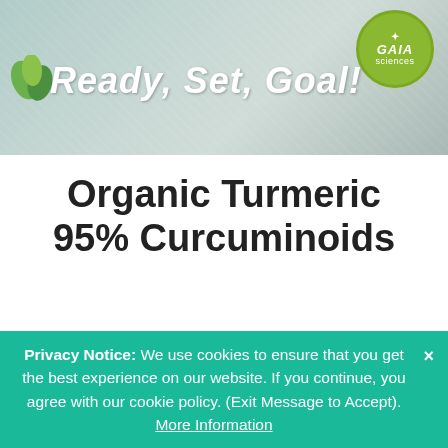[Figure (logo): Banner with 'Ready, Set, Goal!' text and GAIA Sciences logo badge on a muted teal/stone background]
Organic Turmeric 95% Curcuminoids
Max. Potency 1000mg Organic Turmeric daily with Standardized 95% Curcurminoids plus 10mg of Bioperine for MAXIMUM Absorption. 180 Veggie Capsules
Privacy Notice: We use cookies to ensure that you get the best experience on our website. If you continue, you agree with our cookie policy. (Exit Message to Accept). More Information